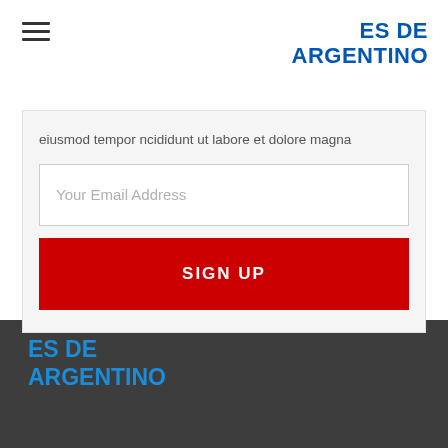ES DE ARGENTINO
eiusmod tempor ncididunt ut labore et dolore magna
[Figure (screenshot): Email input field with placeholder text 'Your Email Address']
SIGN UP
ES DE ARGENTINO